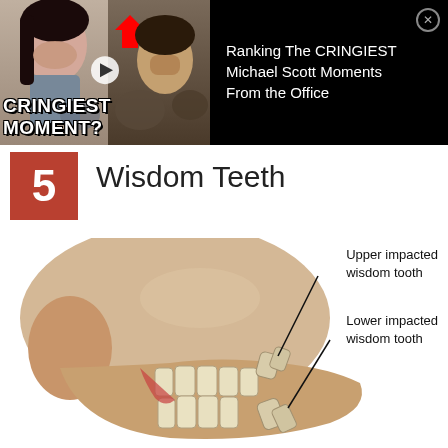[Figure (screenshot): Advertisement banner: YouTube-style video thumbnail for 'Ranking The CRINGIEST Michael Scott Moments From the Office' with a woman covering her face and a man crying, overlaid with bold text 'CRINGIEST MOMENT?' and a play button. Close button (X) in top right corner.]
Ranking The CRINGIEST Michael Scott Moments From the Office
5
Wisdom Teeth
[Figure (illustration): Medical illustration of a human skull cross-section (jaw/face profile) showing impacted wisdom teeth. Labeled with two callout lines: 'Upper impacted wisdom tooth' pointing to upper jaw area, and 'Lower impacted wisdom tooth' pointing to lower jaw area. Teeth, jaw bone, and soft tissue are shown in detail.]
Upper impacted wisdom tooth
Lower impacted wisdom tooth